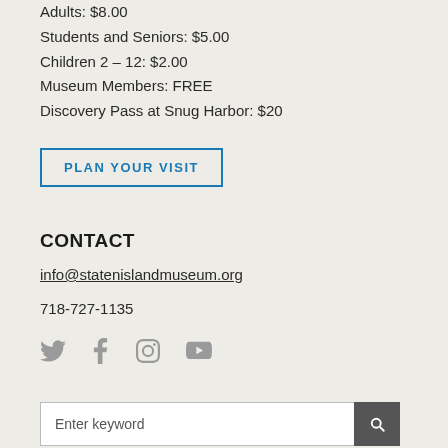Adults: $8.00
Students and Seniors: $5.00
Children 2 – 12: $2.00
Museum Members: FREE
Discovery Pass at Snug Harbor: $20
PLAN YOUR VISIT
CONTACT
info@statenislandmuseum.org
718-727-1135
[Figure (infographic): Social media icons: Twitter, Facebook, Instagram, YouTube]
Enter keyword